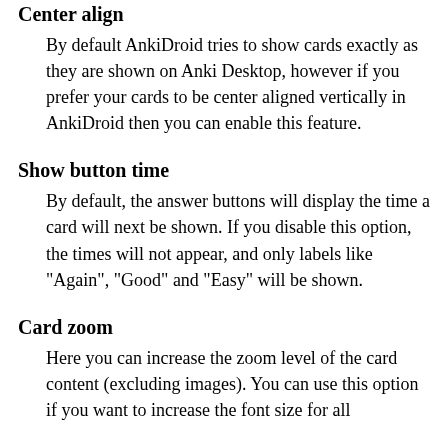Center align
By default AnkiDroid tries to show cards exactly as they are shown on Anki Desktop, however if you prefer your cards to be center aligned vertically in AnkiDroid then you can enable this feature.
Show button time
By default, the answer buttons will display the time a card will next be shown. If you disable this option, the times will not appear, and only labels like "Again", "Good" and "Easy" will be shown.
Card zoom
Here you can increase the zoom level of the card content (excluding images). You can use this option if you want to increase the font size for all